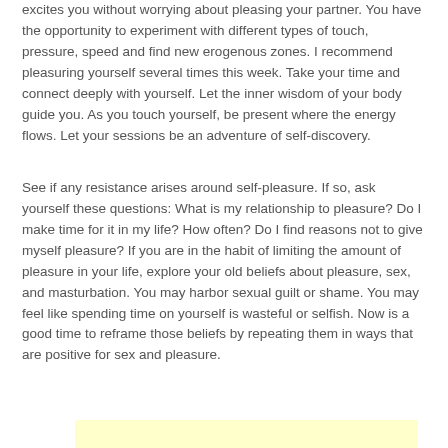excites you without worrying about pleasing your partner. You have the opportunity to experiment with different types of touch, pressure, speed and find new erogenous zones. I recommend pleasuring yourself several times this week. Take your time and connect deeply with yourself. Let the inner wisdom of your body guide you. As you touch yourself, be present where the energy flows. Let your sessions be an adventure of self-discovery.
See if any resistance arises around self-pleasure. If so, ask yourself these questions: What is my relationship to pleasure? Do I make time for it in my life? How often? Do I find reasons not to give myself pleasure? If you are in the habit of limiting the amount of pleasure in your life, explore your old beliefs about pleasure, sex, and masturbation. You may harbor sexual guilt or shame. You may feel like spending time on yourself is wasteful or selfish. Now is a good time to reframe those beliefs by repeating them in ways that are positive for sex and pleasure.